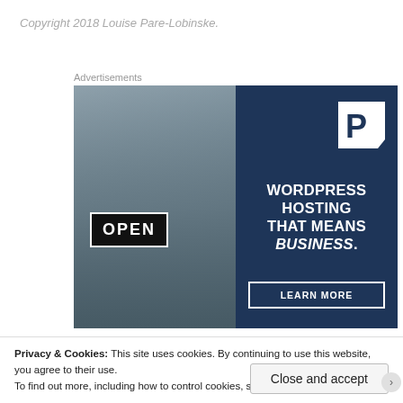Copyright 2018 Louise Pare-Lobinske.
Advertisements
[Figure (photo): WordPress hosting advertisement showing a woman holding an OPEN sign on the left, and on the right a dark blue panel with a P logo, text 'WORDPRESS HOSTING THAT MEANS BUSINESS.' and a 'LEARN MORE' button.]
Privacy & Cookies: This site uses cookies. By continuing to use this website, you agree to their use.
To find out more, including how to control cookies, see here: Cookie Policy
Close and accept